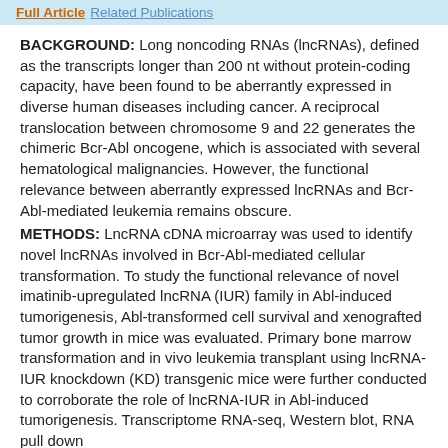Full Article  Related Publications
BACKGROUND: Long noncoding RNAs (lncRNAs), defined as the transcripts longer than 200 nt without protein-coding capacity, have been found to be aberrantly expressed in diverse human diseases including cancer. A reciprocal translocation between chromosome 9 and 22 generates the chimeric Bcr-Abl oncogene, which is associated with several hematological malignancies. However, the functional relevance between aberrantly expressed lncRNAs and Bcr-Abl-mediated leukemia remains obscure.
METHODS: LncRNA cDNA microarray was used to identify novel lncRNAs involved in Bcr-Abl-mediated cellular transformation. To study the functional relevance of novel imatinib-upregulated lncRNA (IUR) family in Abl-induced tumorigenesis, Abl-transformed cell survival and xenografted tumor growth in mice was evaluated. Primary bone marrow transformation and in vivo leukemia transplant using lncRNA-IUR knockdown (KD) transgenic mice were further conducted to corroborate the role of lncRNA-IUR in Abl-induced tumorigenesis. Transcriptome RNA-seq, Western blot, RNA pull down